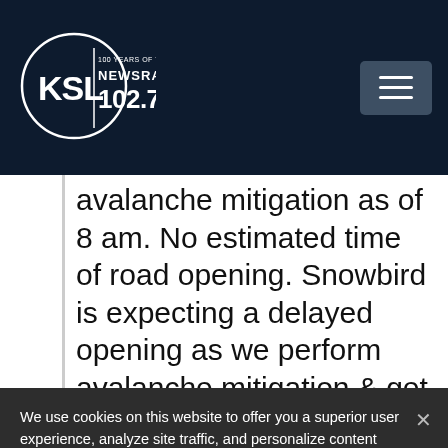[Figure (logo): KSL NewsRadio 102.7 FM logo with circle, 100 Years of Trust text]
avalanche mitigation as of 8 am. No estimated time of road opening. Snowbird is expecting a delayed opening as we perform avalanche mitigation & get staff up the road once it reopens. There is no current ETA on
We use cookies on this website to offer you a superior user experience, analyze site traffic, and personalize content and advertisements. By continuing to use our site, you consent to our use of cookies. Please visit our Privacy Policy for more information.
Accept Cookies